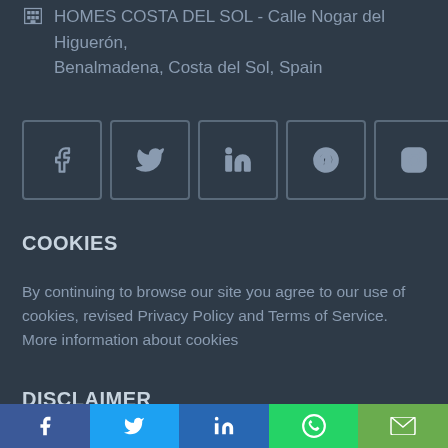HOMES COSTA DEL SOL - Calle Nogar del Higuerón, Benalmadena, Costa del Sol, Spain
[Figure (other): Row of social media icon buttons: Facebook, Twitter, LinkedIn, Pinterest, Instagram]
COOKIES
By continuing to browse our site you agree to our use of cookies, revised Privacy Policy and Terms of Service. More information about cookies
DISCLAIMER
The information contained on this website is for general information purposes only. The information is provided by several promoters and while we endeavor to keep the information up to date and correct, we
[Figure (other): Bottom share bar with Facebook (blue), Twitter (light blue), LinkedIn (dark blue), WhatsApp (green), Email (olive green) buttons]